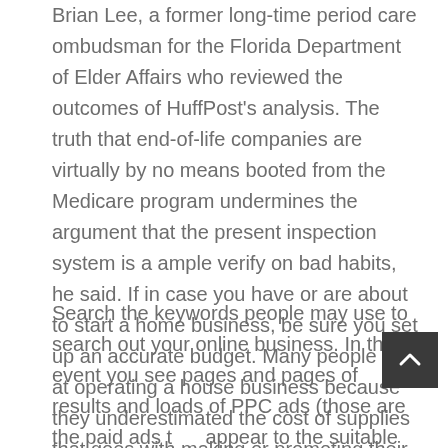Brian Lee, a former long-time period care ombudsman for the Florida Department of Elder Affairs who reviewed the outcomes of HuffPost's analysis. The truth that end-of-life companies are virtually by no means booted from the Medicare program undermines the argument that the present inspection system is a ample verify on bad habits, he said. If in case you have or are about to start a home business, be sure you set up an accurate budget. Many people fail at operating a house business because they underestimated the cost of supplies that goes with making or promoting their product. editorial modadori For the best monetary assist, think about hiring an accountant.
Search the keywords people may use to search out your online business. In the event you see pages and pages of results and loads of PPC ads (those are the paid ads that appear to the suitable and typically above the organic outcomes), competitors is excessive for that key phrase or